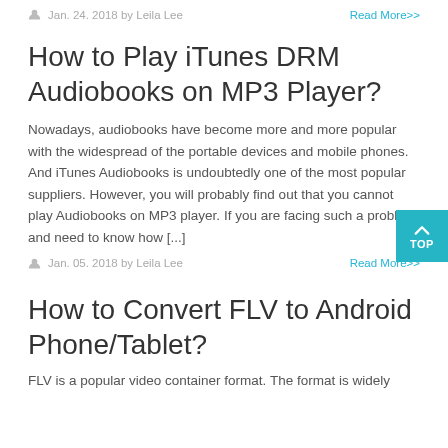Jan. 24. 2018 by Leila Lee    Read More>>
How to Play iTunes DRM Audiobooks on MP3 Player?
Nowadays, audiobooks have become more and more popular with the widespread of the portable devices and mobile phones. And iTunes Audiobooks is undoubtedly one of the most popular suppliers. However, you will probably find out that you cannot play Audiobooks on MP3 player. If you are facing such a problem and need to know how [...]
Jan. 05. 2018 by Leila Lee    Read More>>
How to Convert FLV to Android Phone/Tablet?
FLV is a popular video container format. The format is widely